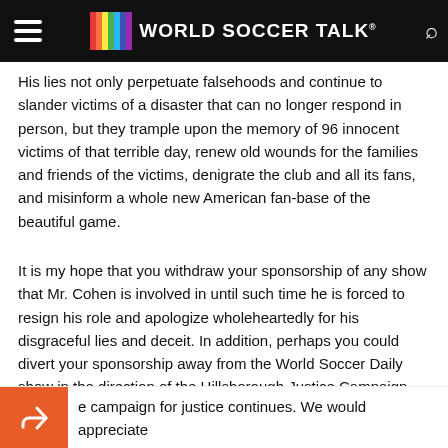World Soccer Talk
His lies not only perpetuate falsehoods and continue to slander victims of a disaster that can no longer respond in person, but they trample upon the memory of 96 innocent victims of that terrible day, renew old wounds for the families and friends of the victims, denigrate the club and all its fans, and misinform a whole new American fan-base of the beautiful game.
It is my hope that you withdraw your sponsorship of any show that Mr. Cohen is involved in until such time he is forced to resign his role and apologize wholeheartedly for his disgraceful lies and deceit. In addition, perhaps you could divert your sponsorship away from the World Soccer Daily show in the direction of the Hillsborough Justice Campaign until the promised one thousand pounds sterling from Mr. Cohen is made up.
e campaign for justice continues. We would appreciate r support.